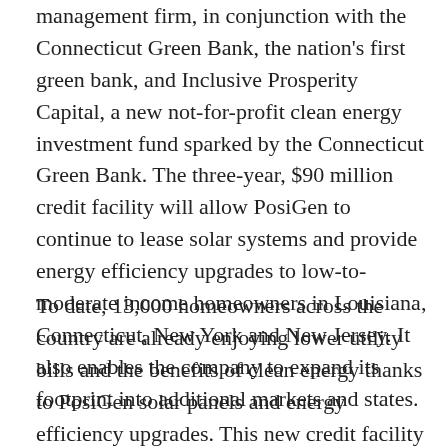management firm, in conjunction with the Connecticut Green Bank, the nation's first green bank, and Inclusive Prosperity Capital, a new not-for-profit clean energy investment fund sparked by the Connecticut Green Bank. The three-year, $90 million credit facility will allow PosiGen to continue to lease solar systems and provide energy efficiency upgrades to low-to-moderate income homeowners in Louisiana, Connecticut, New York and New Jersey. It also enables the company to expand its footprint into additional markets and states.
To date, 13,000 homeowners across the country are already enjoying lower utility bills and the benefits of clean energy thanks to PosiGen solar panels and energy efficiency upgrades. This new credit facility will nearly double that number of homeowner access over the next three years. According to Thomas Neyhart, CEO of PosiGen, “This partnership is really a game-